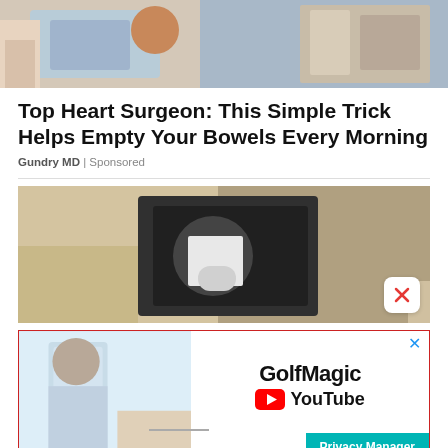[Figure (photo): Photo of a woman and a man in suit, with blue packaged products]
Top Heart Surgeon: This Simple Trick Helps Empty Your Bowels Every Morning
Gundry MD | Sponsored
[Figure (photo): Close-up photo of a light bulb in a wall-mounted outdoor lantern fixture]
[Figure (screenshot): GolfMagic YouTube advertisement banner with a golfer image and YouTube play button]